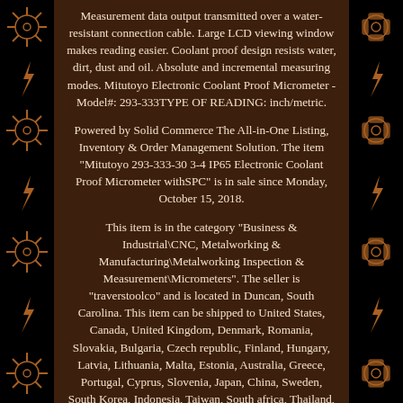Measurement data output transmitted over a water-resistant connection cable. Large LCD viewing window makes reading easier. Coolant proof design resists water, dirt, dust and oil. Absolute and incremental measuring modes. Mitutoyo Electronic Coolant Proof Micrometer - Model#: 293-333TYPE OF READING: inch/metric.
Powered by Solid Commerce The All-in-One Listing, Inventory & Order Management Solution. The item "Mitutoyo 293-333-30 3-4 IP65 Electronic Coolant Proof Micrometer withSPC" is in sale since Monday, October 15, 2018.
This item is in the category "Business & Industrial\CNC, Metalworking & Manufacturing\Metalworking Inspection & Measurement\Micrometers". The seller is "traverstoolco" and is located in Duncan, South Carolina. This item can be shipped to United States, Canada, United Kingdom, Denmark, Romania, Slovakia, Bulgaria, Czech republic, Finland, Hungary, Latvia, Lithuania, Malta, Estonia, Australia, Greece, Portugal, Cyprus, Slovenia, Japan, China, Sweden, South Korea, Indonesia, Taiwan, South africa, Thailand, Belgium, France, Hong Kong, Ireland, Netherlands, Poland, Spain, Italy, Germany, Austria, Bahamas, Israel, Mexico, New Zealand, Philippines, Singapore, Switzerland, Norway, Saudi arabia, United arab emirates, Qatar, Kuwait, Bahrain, Croatia,